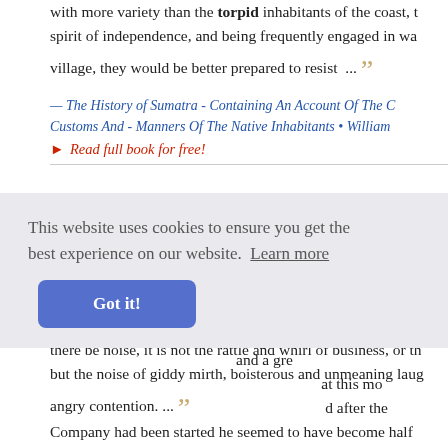with more variety than the torpid inhabitants of the coast, the spirit of independence, and being frequently engaged in war, and being settled in village, they would be better prepared to resist ...
— The History of Sumatra - Containing An Account Of The Customs And - Manners Of The Native Inhabitants • William
▸ Read full book for free!
... farther still from anything like enterprise. Those nations civilized exhibit more or less industry, and are acquainted with but barbarous nations are acquainted with none of the improvements that elevate society, and exhibit a state of lounging indolence and there be noise, it is not the rattle and whirl of business, or the but the noise of giddy mirth, boisterous and unmeaning laugh angry contention. ...
This website uses cookies to ensure you get the best experience on our website. Learn more
Got it!
and a great at this mo d after the Company had been started he seemed to have become half